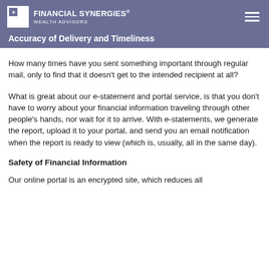FINANCIAL SYNERGIES® WEALTH ADVISORS
Accuracy of Delivery and Timeliness
How many times have you sent something important through regular mail, only to find that it doesn't get to the intended recipient at all?
What is great about our e-statement and portal service, is that you don't have to worry about your financial information traveling through other people's hands, nor wait for it to arrive. With e-statements, we generate the report, upload it to your portal, and send you an email notification when the report is ready to view (which is, usually, all in the same day).
Safety of Financial Information
Our online portal is an encrypted site, which reduces all